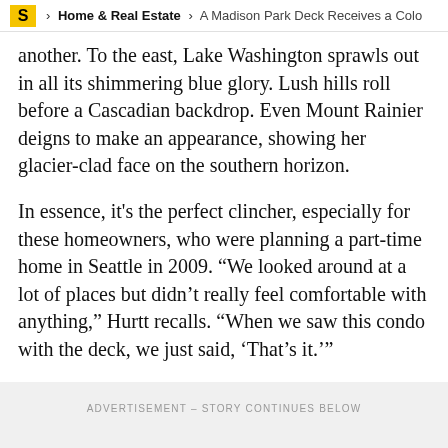S > Home & Real Estate > A Madison Park Deck Receives a Colo
another. To the east, Lake Washington sprawls out in all its shimmering blue glory. Lush hills roll before a Cascadian backdrop. Even Mount Rainier deigns to make an appearance, showing her glacier-clad face on the southern horizon.
In essence, it's the perfect clincher, especially for these homeowners, who were planning a part-time home in Seattle in 2009. “We looked around at a lot of places but didn’t really feel comfortable with anything,” Hurtt recalls. “When we saw this condo with the deck, we just said, ‘That’s it.’”
ADVERTISEMENT – STORY CONTINUES BELOW
Getting the art here was a labor...